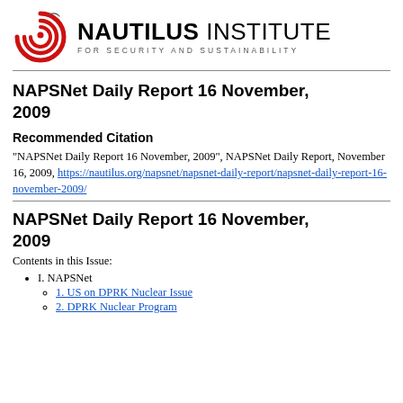[Figure (logo): Nautilus Institute for Security and Sustainability logo with red spiral and text]
NAPSNet Daily Report 16 November, 2009
Recommended Citation
"NAPSNet Daily Report 16 November, 2009", NAPSNet Daily Report, November 16, 2009, https://nautilus.org/napsnet/napsnet-daily-report/napsnet-daily-report-16-november-2009/
NAPSNet Daily Report 16 November, 2009
Contents in this Issue:
I. NAPSNet
1. US on DPRK Nuclear Issue
2. DPRK Nuclear Program